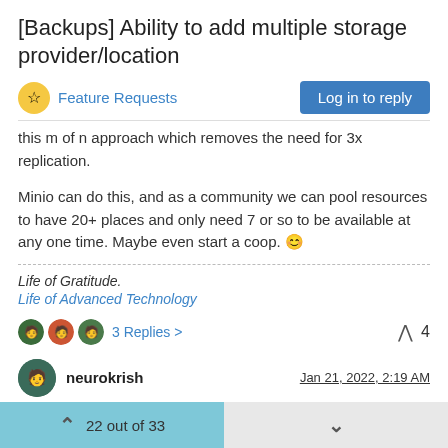[Backups] Ability to add multiple storage provider/location
Feature Requests | Log in to reply
this m of n approach which removes the need for 3x replication.
Minio can do this, and as a community we can pool resources to have 20+ places and only need 7 or so to be available at any one time. Maybe even start a coop. 😊
Life of Gratitude.
Life of Advanced Technology
3 Replies >    4
neurokrish   Jan 21, 2022, 2:19 AM
@robi great idea. +1 for m of n approach with minio!
22 out of 33